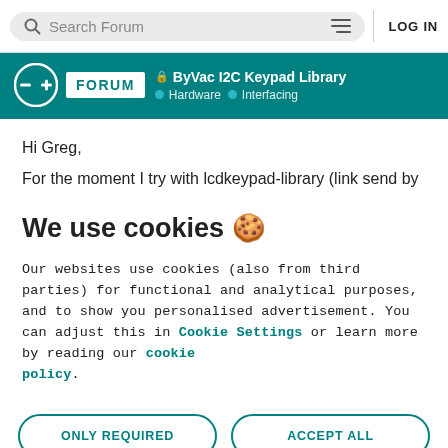Search Forum  LOG IN
ByVac I2C Keypad Library — Hardware » Interfacing
Hi Greg,
For the moment I try with lcdkeypad-library (link send by
We use cookies 🍪
Our websites use cookies (also from third parties) for functional and analytical purposes, and to show you personalised advertisement. You can adjust this in Cookie Settings or learn more by reading our cookie policy.
ONLY REQUIRED   ACCEPT ALL